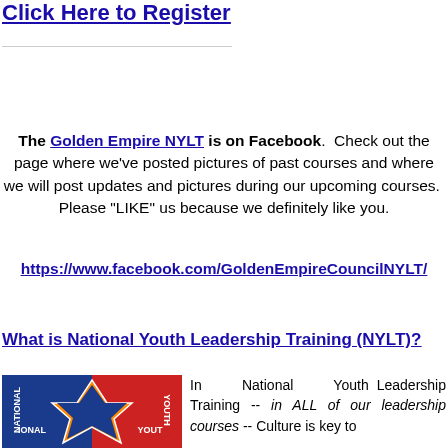Click Here to Register
The Golden Empire NYLT is on Facebook. Check out the page where we've posted pictures of past courses and where we will post updates and pictures during our upcoming courses. Please "LIKE" us because we definitely like you.
https://www.facebook.com/GoldenEmpireCouncilNYLT/
What is National Youth Leadership Training (NYLT)?
[Figure (logo): NYLT logo with blue and red background, star shape, text reading NATIONAL YOUTH]
In National Youth Leadership Training -- in ALL of our leadership courses -- Culture is key to